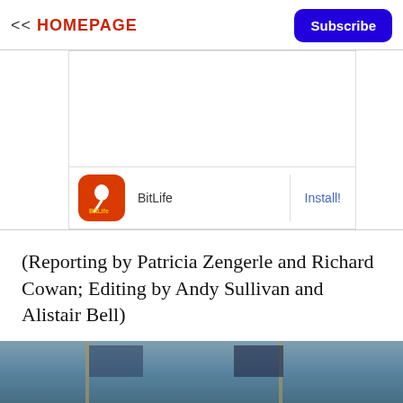<< HOMEPAGE
Subscribe
[Figure (screenshot): BitLife app advertisement with orange app icon showing a sperm graphic and 'BitLife' text, with an Install! button on the right]
(Reporting by Patricia Zengerle and Richard Cowan; Editing by Andy Sullivan and Alistair Bell)
[Figure (photo): Blurred photo of flags, appears to show American flags and gold-fringed flags in an interior setting]